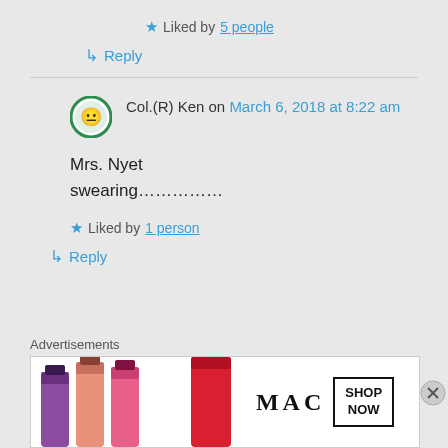★ Liked by 5 people
↳ Reply
Col.(R) Ken on March 6, 2018 at 8:22 am
Mrs. Nyet swearing……………
★ Liked by 1 person
↳ Reply
Advertisements
[Figure (photo): MAC cosmetics advertisement banner showing lipsticks in purple, pink, coral colors with MAC logo and SHOP NOW button]